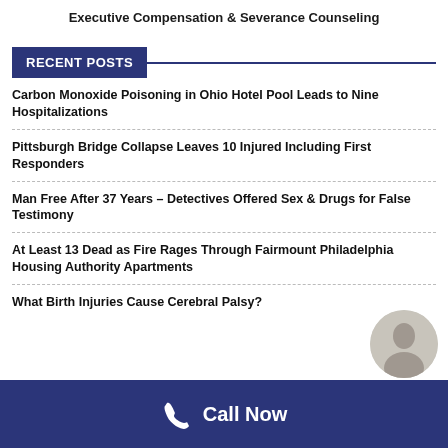Executive Compensation & Severance Counseling
RECENT POSTS
Carbon Monoxide Poisoning in Ohio Hotel Pool Leads to Nine Hospitalizations
Pittsburgh Bridge Collapse Leaves 10 Injured Including First Responders
Man Free After 37 Years – Detectives Offered Sex & Drugs for False Testimony
At Least 13 Dead as Fire Rages Through Fairmount Philadelphia Housing Authority Apartments
What Birth Injuries Cause Cerebral Palsy?
Call Now